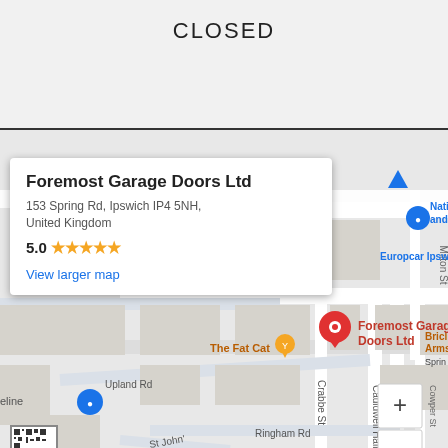CLOSED
[Figure (screenshot): Google Maps screenshot showing Foremost Garage Doors Ltd at 153 Spring Rd, Ipswich IP4 5NH. Map shows surrounding streets including Cauldwell Hall Rd, Crabbe St, Cowper St, Milton St, Kirby St, Tovells Rd, Upland Rd, Ringham Rd, St John's. Nearby places: Sainsbury's Local, National T and Autoc, Europcar Ipswich, Brick Arms, The Fat Cat. Map info popup with 5.0 star rating and View larger map link. Red pin marker on Foremost Garage Doors Ltd. Zoom controls (+ and -) in bottom right.]